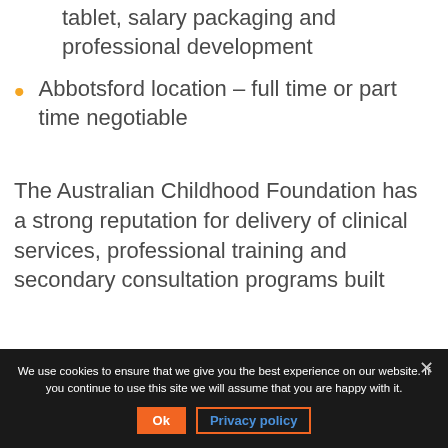tablet, salary packaging and professional development
Abbotsford location – full time or part time negotiable
The Australian Childhood Foundation has a strong reputation for delivery of clinical services, professional training and secondary consultation programs built
We use cookies to ensure that we give you the best experience on our website. If you continue to use this site we will assume that you are happy with it.